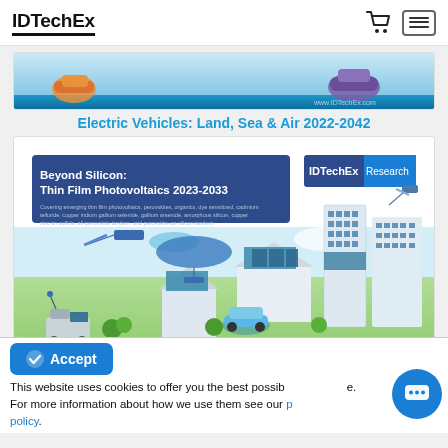IDTechEx
[Figure (screenshot): Partial top banner showing Electric Vehicles: Land, Sea & Air 2022-2042 report cover with colorful EV illustration on blue/teal gradient background]
Electric Vehicles: Land, Sea & Air 2022-2042
[Figure (screenshot): Beyond Silicon: Thin Film Photovoltaics 2023-2033 IDTechEx Research report cover. Dark blue header box with white text, green background below with illustrations of buildings, solar panels, electric vehicle, satellite, and drone.]
This website uses cookies to offer you the best possible experience. For more information about how we use them see our privacy policy.